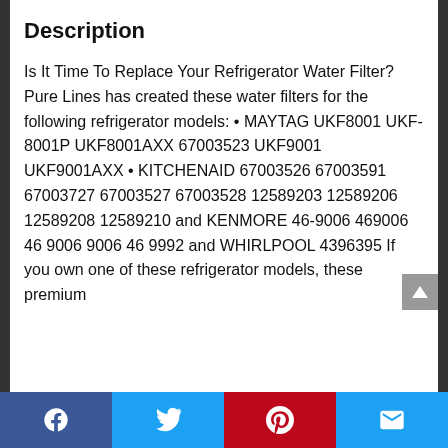Description
Is It Time To Replace Your Refrigerator Water Filter? Pure Lines has created these water filters for the following refrigerator models: • MAYTAG UKF8001 UKF-8001P UKF8001AXX 67003523 UKF9001 UKF9001AXX • KITCHENAID 67003526 67003591 67003727 67003527 67003528 12589203 12589206 12589208 12589210 and KENMORE 46-9006 469006 46 9006 9006 46 9992 and WHIRLPOOL 4396395 If you own one of these refrigerator models, these premium
Facebook | Twitter | Pinterest | Email